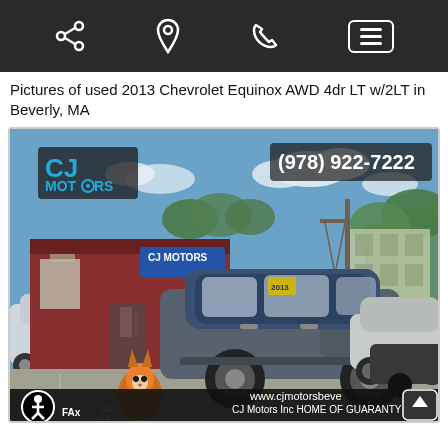Navigation bar with share, location, phone, and menu icons
Pictures of used 2013 Chevrolet Equinox AWD 4dr LT w/2LT in Beverly, MA
[Figure (photo): Exterior photo of a gray 2013 Chevrolet Equinox SUV parked in front of CJ Motors dealership in Beverly, MA. The dealership has a red building with CJ Motors signage. Phone number (978) 922-7222 is overlaid on the image along with the CJ Motors logo. Bottom overlay shows www.cjmotorsbeve and CJ Motors Inc HOME OF GUARANTY A, with an accessibility button and scroll-up button.]